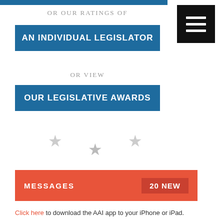[Figure (screenshot): Top blue bar strip]
OR OUR RATINGS OF
[Figure (screenshot): Blue button: AN INDIVIDUAL LEGISLATOR]
[Figure (screenshot): Black menu/hamburger button top right]
OR VIEW
[Figure (screenshot): Blue button: OUR LEGISLATIVE AWARDS]
[Figure (infographic): Three decorative grey stars arranged in triangular pattern]
[Figure (screenshot): Red/orange Messages bar with '20 NEW' badge]
Click here to download the AAI app to your iPhone or iPad.
Twitter Feed
Tweets from @ArkansasProject  Follow